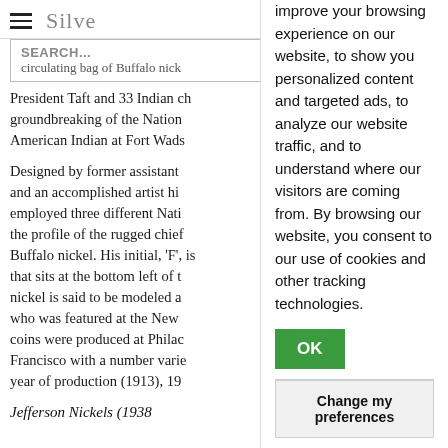Silver [logo/script]
SEARCH... circulating bag of Buffalo nickel President Taft and 33 Indian chiefs at the groundbreaking of the National Museum of the American Indian at Fort Wads...
Designed by former assistant and an accomplished artist himself, employed three different Native American models for the profile of the rugged chief on the Buffalo nickel. His initial, 'F', is inscribed that sits at the bottom left of the coin. The nickel is said to be modeled after a chief who was featured at the New York. The coins were produced at Philadelphia, San Francisco with a number varying by year of production (1913), 19...
Jefferson Nickels (1938...
improve your browsing experience on our website, to show you personalized content and targeted ads, to analyze our website traffic, and to understand where our visitors are coming from. By browsing our website, you consent to our use of cookies and other tracking technologies.
OK
Change my preferences